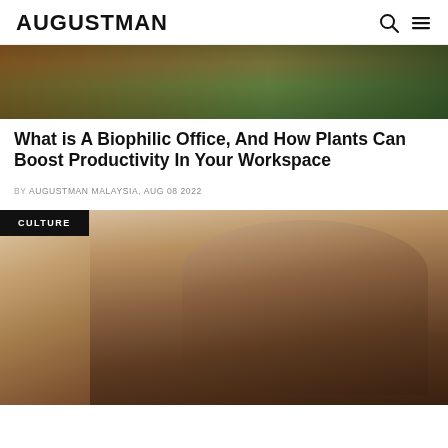AUGUSTMAN
[Figure (photo): Top partial image of a biophilic office with plants and wooden desk elements, cropped at top]
What is A Biophilic Office, And How Plants Can Boost Productivity In Your Workspace
BY AUGUSTMAN MALAYSIA, AUG 08 2022
[Figure (photo): A Black man with a beard wearing headphones and a white t-shirt, watering a plant with a white watering can. A CULTURE label badge overlays the top-left corner.]